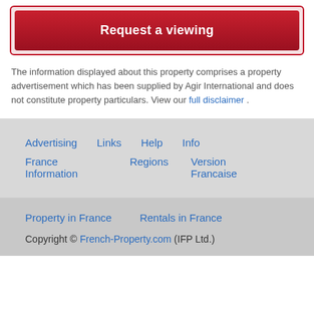Request a viewing
The information displayed about this property comprises a property advertisement which has been supplied by Agir International and does not constitute property particulars. View our full disclaimer .
Advertising   Links   Help   Info   France Information   Regions   Version Francaise
Property in France   Rentals in France
Copyright © French-Property.com (IFP Ltd.)